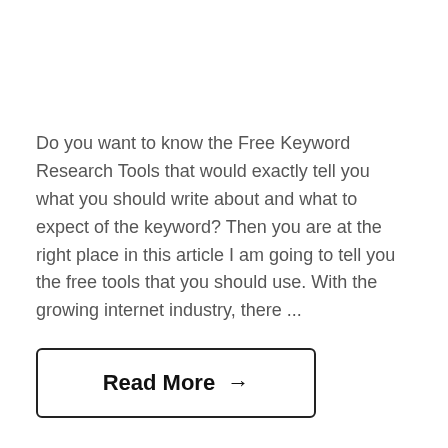Do you want to know the Free Keyword Research Tools that would exactly tell you what you should write about and what to expect of the keyword? Then you are at the right place in this article I am going to tell you the free tools that you should use. With the growing internet industry, there ...
Read More →
Published on
24
January